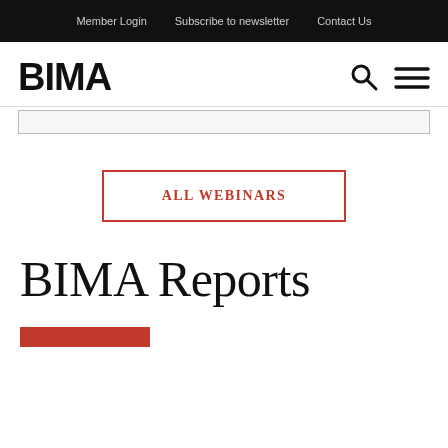Member Login   Subscribe to newsletter   Contact Us
BIMA
ALL WEBINARS
BIMA Reports